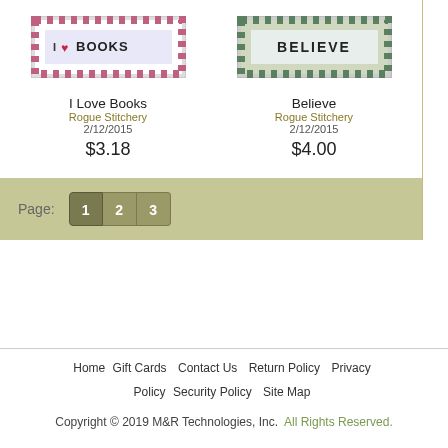[Figure (illustration): Cross-stitch style bookmark reading 'I LOVE BOOKS' with pink/red checkerboard border]
[Figure (illustration): Cross-stitch style bookmark reading 'BELIEVE' with green checkerboard border]
I Love Books
Rogue Stitchery
2/12/2015
$3.18
Believe
Rogue Stitchery
2/12/2015
$4.00
Page: 1 2 3
Home  Gift Cards  Contact Us  Return Policy  Privacy Policy  Security Policy  Site Map
Copyright © 2019 M&R Technologies, Inc.  All Rights Reserved.